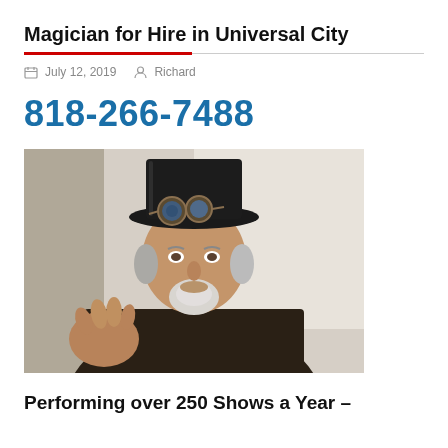Magician for Hire in Universal City
July 12, 2019   Richard
818-266-7488
[Figure (photo): Man wearing a black top hat with steampunk goggles, dark jacket, gray beard, gesturing with right hand, looking upward, indoor background]
Performing over 250 Shows a Year –